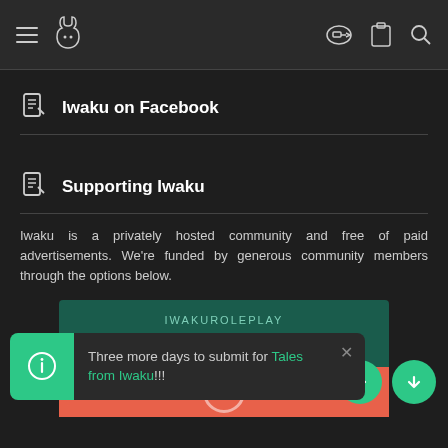Navigation bar with hamburger menu, rabbit logo, key icon, clipboard icon, search icon
Iwaku on Facebook
Supporting Iwaku
Iwaku is a privately hosted community and free of paid advertisements. We're funded by generous community members through the options below.
[Figure (infographic): IWAKUROLEPLAY ACCOUNT UPGRADE card in dark teal and coral/orange colors]
Three more days to submit for Tales from Iwaku!!!